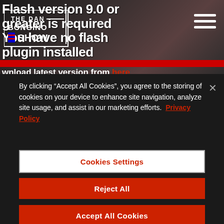[Figure (screenshot): Hero banner with Flash version error message: 'Flash version 9.0 or greater is required. You have no flash plugin installed. Download latest version from here.' with The Dan Bongino Show logo and hamburger menu icon overlay. Red horizontal bar across the bottom of the hero section.]
By clicking “Accept All Cookies”, you agree to the storing of cookies on your device to enhance site navigation, analyze site usage, and assist in our marketing efforts. Privacy Policy
Cookies Settings
Reject All
Accept All Cookies